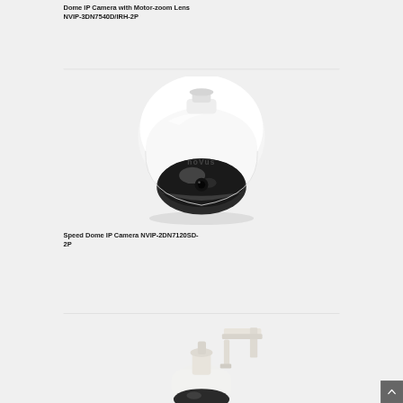Dome IP Camera with Motor-zoom Lens NVIP-3DN7540D/IRH-2P
[Figure (photo): White dome IP camera with NOVUS branding on body and dark tinted dome bubble, viewed from front-top angle]
Speed Dome IP Camera NVIP-2DN7120SD-2P
[Figure (photo): Speed dome IP camera on wall-mount bracket, white housing, partially visible at bottom of page]
[Figure (other): Scroll-to-top button, dark grey square with white upward arrow]